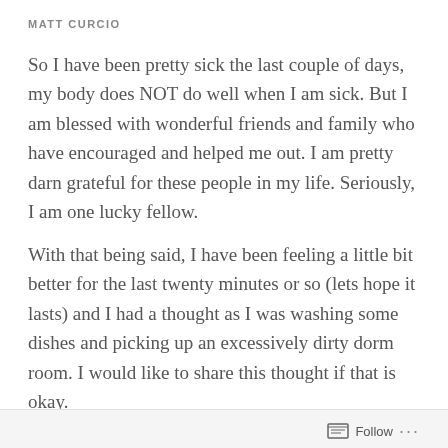MATT CURCIO
So I have been pretty sick the last couple of days, my body does NOT do well when I am sick. But I am blessed with wonderful friends and family who have encouraged and helped me out. I am pretty darn grateful for these people in my life. Seriously, I am one lucky fellow.
With that being said, I have been feeling a little bit better for the last twenty minutes or so (lets hope it lasts) and I had a thought as I was washing some dishes and picking up an excessively dirty dorm room. I would like to share this thought if that is okay.
So as I have said in my previous post I have had a lot